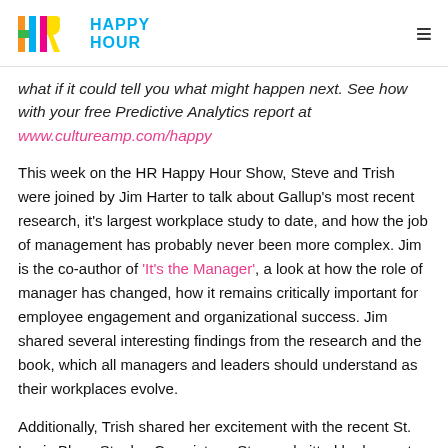HR HAPPY HOUR
what if it could tell you what might happen next. See how with your free Predictive Analytics report at www.cultureamp.com/happy
This week on the HR Happy Hour Show, Steve and Trish were joined by Jim Harter to talk about Gallup's most recent research, it's largest workplace study to date, and how the job of management has probably never been more complex. Jim is the co-author of 'It's the Manager', a look at how the role of manager has changed, how it remains critically important for employee engagement and organizational success. Jim shared several interesting findings from the research and the book, which all managers and leaders should understand as their workplaces evolve.
Additionally, Trish shared her excitement with the recent St. Louis Blues Stanley Cup victory; Steve admitted he has not